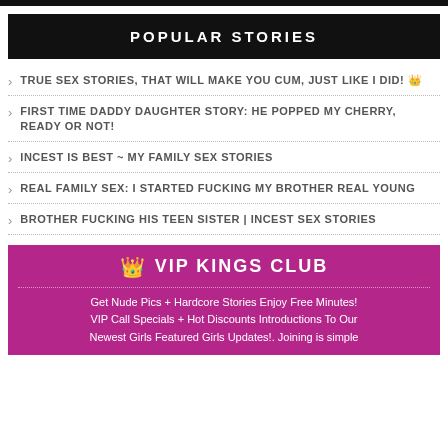POPULAR STORIES
TRUE SEX STORIES, THAT WILL MAKE YOU CUM, JUST LIKE I DID! 👑
FIRST TIME DADDY DAUGHTER STORY: HE POPPED MY CHERRY, READY OR NOT!
INCEST IS BEST ~ MY FAMILY SEX STORIES
REAL FAMILY SEX: I STARTED FUCKING MY BROTHER REAL YOUNG
BROTHER FUCKING HIS TEEN SISTER | INCEST SEX STORIES
👑 VIP KINGS CLUB
Get Nude Pics + Hardcore Stories Enjoy Free Minutes! VIP Call Specials + Hot Discounts Introductions To Our Newest Girls Featured Girls Updates!. Joining is simple